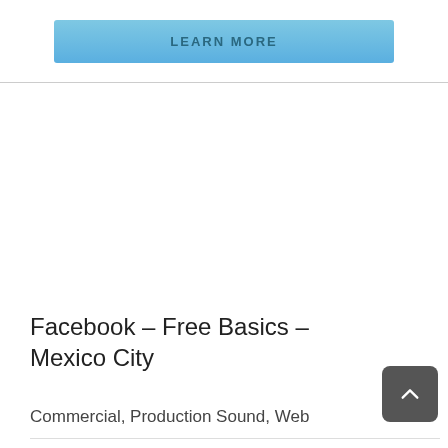LEARN MORE
Facebook – Free Basics – Mexico City
Commercial, Production Sound, Web
Facebook – Free Basics – Mexico City Production